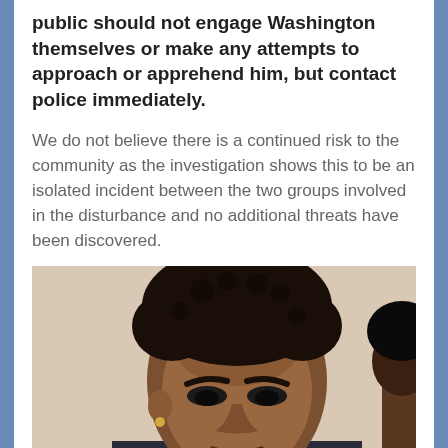public should not engage Washington themselves or make any attempts to approach or apprehend him, but contact police immediately.
We do not believe there is a continued risk to the community as the investigation shows this to be an isolated incident between the two groups involved in the disturbance and no additional threats have been discovered.
[Figure (photo): Close-up photograph of a young Black male with curly dark hair, looking slightly downward, wearing a small earring. Another person is partially visible on the right edge.]